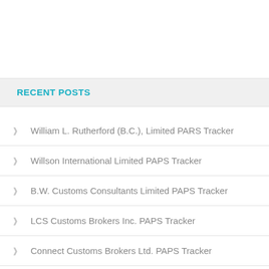RECENT POSTS
William L. Rutherford (B.C.), Limited PARS Tracker
Willson International Limited PAPS Tracker
B.W. Customs Consultants Limited PAPS Tracker
LCS Customs Brokers Inc. PAPS Tracker
Connect Customs Brokers Ltd. PAPS Tracker